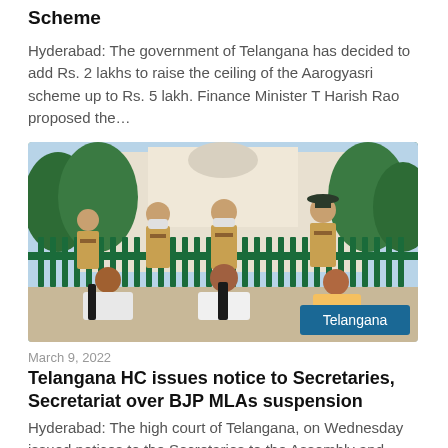Scheme
Hyderabad: The government of Telangana has decided to add Rs. 2 lakhs to raise the ceiling of the Aarogyasri scheme up to Rs. 5 lakh. Finance Minister T Harish Rao proposed the…
[Figure (photo): Group of police officers standing behind green iron fence gate, with three men in white/dark clothing sitting in front on the ground in protest. A white building visible in background. 'Telangana' label badge in bottom right corner.]
March 9, 2022
Telangana HC issues notice to Secretaries, Secretariat over BJP MLAs suspension
Hyderabad: The high court of Telangana, on Wednesday issued notices to the Secretaries to the Assembly and